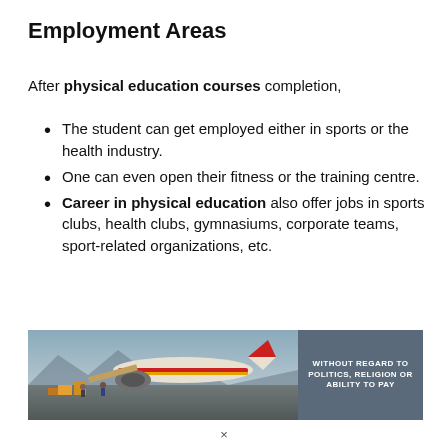Employment Areas
After physical education courses completion,
The student can get employed either in sports or the health industry.
One can even open their fitness or the training centre.
Career in physical education also offer jobs in sports clubs, health clubs, gymnasiums, corporate teams, sport-related organizations, etc.
[Figure (photo): Advertisement banner showing an airplane being loaded with cargo at an airport, with a dark blue panel reading 'WITHOUT REGARD TO POLITICS, RELIGION OR ABILITY TO PAY']
×